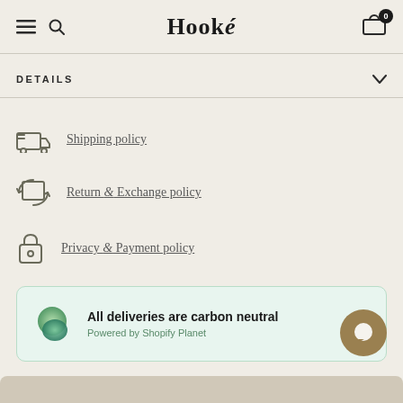Hooké
DETAILS
Shipping policy
Return & Exchange policy
Privacy & Payment policy
All deliveries are carbon neutral
Powered by Shopify Planet